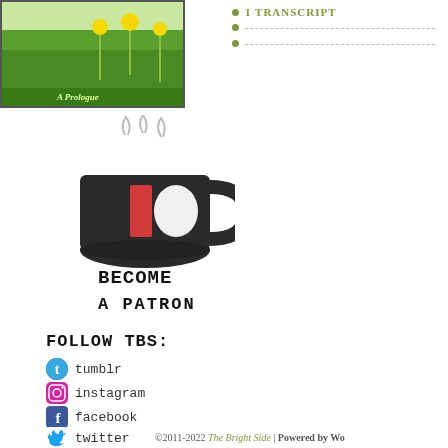[Figure (illustration): Book cover thumbnail showing green grass and dandelions, partially visible at top left]
1 TRANSCRIPT
dashes
[Figure (illustration): Hand-drawn dark coffee mug with red stripe and steam rising, with text BECOME A PATRON below]
FOLLOW TBS:
tumblr
instagram
facebook
twitter
©2011-2022 The Bright Side | Powered by Wo…